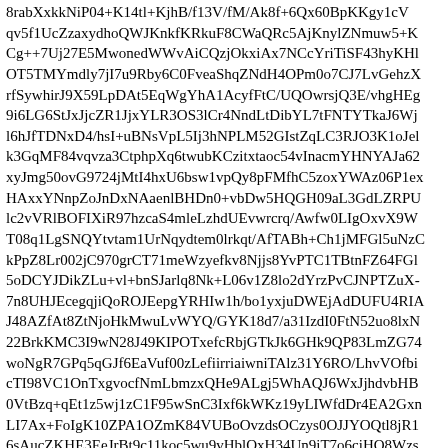8rabXxkkNiP04+K14tl+KjhB/f13V/fM/Ak8f+6Qx6oBpKKgy1cV
qv5f1UcZzaxydhoQWJKnkfKRkuF8CWaQRc5AjKnylZNmuw5+K
Cg++7Uj27E5MwonedWWvAiCQzjOkxiAx7NCcYriTiSF43hyKHl
OT5TMYmdly7jI7u9Rby6C0FveaShqZNdH4OPm0o7CJ7LvGehzX
rfSywhirJ9X59LpDAt5EqWgYhA1AcyfFtC/UQOwrsjQ3E/vhgHEg
9i6LG6StJxJjcZR1JjxYLR3OS3lCr4NndLtDibYL7tFNTYTkaJ6Wj
l6hJfTDNxD4/hsI+uBNsVpL5Ij3hNPLM52GIstZqLC3RJO3K1oJel
k3GqMF84vqvza3CtphpXq6twubKCzitxtaoc54vInacmYHNYAJa62
xyJmg50ovG9724jMtI4hxU6bsw1vpQy8pFMfhC5zoxYWAz06P1ex
HAxxYNnpZoJnDxNAaenlBHDn0+vbDw5HQGH09aL3GdLZRPU
lc2vVRlBOFIXiR97hzcaS4mleLzhdUEvwrcrq/Awfw0LIgOxvX9W
T08q1LgSNQYtvtam1UrNqydtem0lrkqt/AfTABh+Ch1jMFGl5uNzC
kPpZ8Lr002jC970grCT71meWzyefkv8Njjs8YvPTC1TBtnFZ64FGl
5oDCYJDikZLu+vl+bnSJarlq8Nk+L06v1Z8lo2dYrzPvCJNPTZuX-
7n8UHJEcegqjiQoROJEepgYRHIw1h/bo1yxjuDWEjAdDUFU4RIA
J48AZfAt8ZtNjoHkMwuLvWYQ/GYK18d7/a31IzdI0FtN52uo8lxN
22BrkKMC3I9wN28J49KIPOTxefcRbjGTkJk6GHk9QP83LmZG74
woNgR7GPq5qGJf6EaVuf00zLefiirriaiwniTAlz31Y6RO/LhvVOfbi
cTI98VC1OnTxgvocfNmLbmzxQHe9ALgj5WhAQJ6WxJjhdvbHB
0VtBzq+qEt1z5wj1zC1F95wSnC3Ixf6kWKz19yLIWfdDr4EA2Gxn
LI7Ax+FoIgK10ZPA1OZmK84VUBoOvzdsOCzys0OJJYOQtl8jR1
6sAucZKHE3EeJrBt9c11koc5wu9vHblOxH34Un9iT7o6ciHQ8Wzs
V5gbh7djQfXLvSt0WlwbHowexJpQcbnMuzPlbYcFXpSjzfTne8PH
ptECTZVMI/PoxWlBNByp5Q2U/zjk5PekhmnBp0qCmP8OAnzc16
Tz1G/4+krTx3Bye5Giq9lGpZ8JhHeBw2tVBBJMEmp6VQNN53Ul
ldl7Fox...